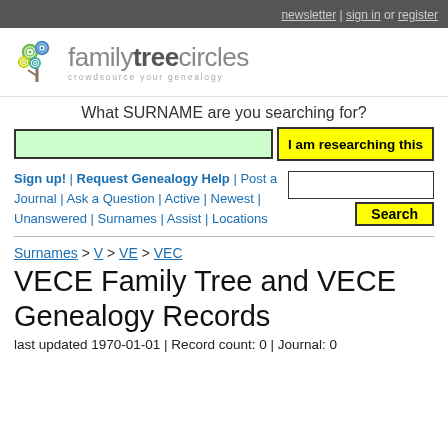newsletter | sign in or register
[Figure (logo): Family Tree Circles logo with colorful spiral tree graphic and text 'familytreecircles - crowdsource your genealogy']
What SURNAME are you searching for?
Sign up! | Request Genealogy Help | Post a Journal | Ask a Question | Active | Newest | Unanswered | Surnames | Assist | Locations
Surnames > V > VE > VEC
VECE Family Tree and VECE Genealogy Records
last updated 1970-01-01 | Record count: 0 | Journal: 0